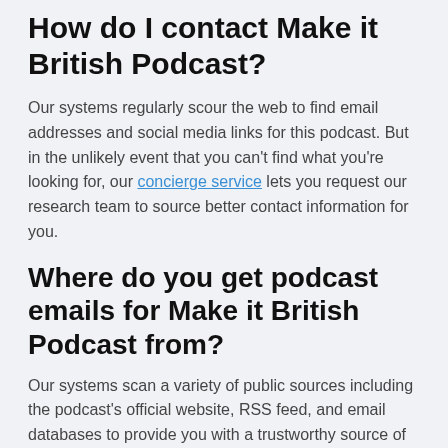How do I contact Make it British Podcast?
Our systems regularly scour the web to find email addresses and social media links for this podcast. But in the unlikely event that you can't find what you're looking for, our concierge service lets you request our research team to source better contact information for you.
Where do you get podcast emails for Make it British Podcast from?
Our systems scan a variety of public sources including the podcast's official website, RSS feed, and email databases to provide you with a trustworthy source of podcast contact information. We also have our own research team on-hand to manually find email addresses if you can't find exactly what you're looking for.
Where does Rephonic collect Make it British Podcast reviews from?